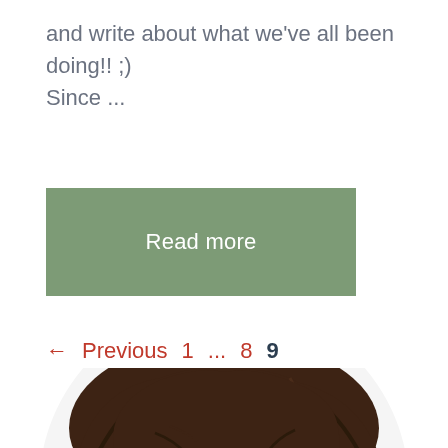and write about what we've all been doing!! ;) Since ...
Read more
← Previous  1  ...  8  9
[Figure (photo): Bottom portion of a woman with dark, messy hair and closed eyes, photographed from above against a white background]